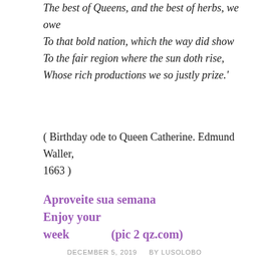The best of Queens, and the best of herbs, we owe
To that bold nation, which the way did show
To the fair region where the sun doth rise,
Whose rich productions we so justly prize.'
( Birthday ode to Queen Catherine. Edmund Waller, 1663 )
Aproveite sua semana         Enjoy your week         (pic 2 qz.com)
DECEMBER 5, 2019    BY LUSOLOBO